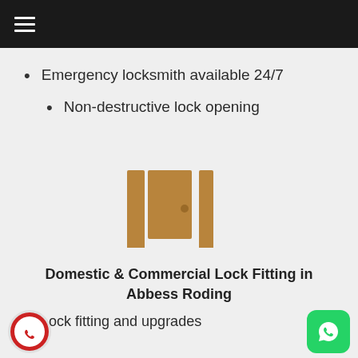☰
Emergency locksmith available 24/7
Non-destructive lock opening
[Figure (illustration): Gold/brown icon of a door ajar with a doorknob, two building-like shapes forming an open door scene]
Domestic & Commercial Lock Fitting in Abbess Roding
Lock fitting and upgrades